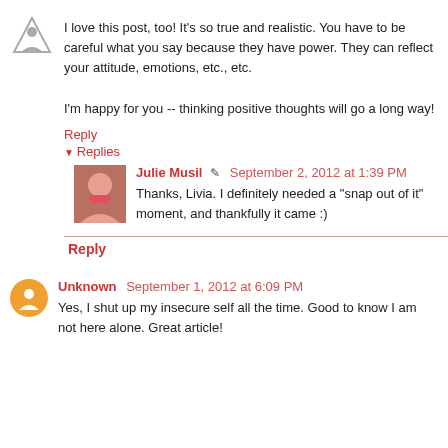[Figure (illustration): Default blogger avatar - grey triangle/person icon]
I love this post, too! It's so true and realistic. You have to be careful what you say because they have power. They can reflect your attitude, emotions, etc., etc.

I'm happy for you -- thinking positive thoughts will go a long way!
Reply
Replies
[Figure (photo): Photo of Julie Musil]
Julie Musil  September 2, 2012 at 1:39 PM
Thanks, Livia. I definitely needed a "snap out of it" moment, and thankfully it came :)
Reply
[Figure (illustration): Orange circle with blogger B icon - Unknown user avatar]
Unknown  September 1, 2012 at 6:09 PM
Yes, I shut up my insecure self all the time. Good to know I am not here alone. Great article!